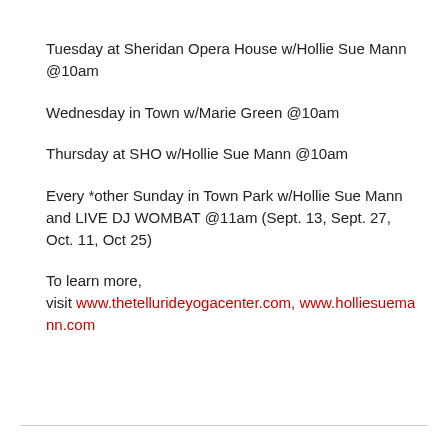Tuesday at Sheridan Opera House w/Hollie Sue Mann @10am
Wednesday in Town w/Marie Green @10am
Thursday at SHO w/Hollie Sue Mann @10am
Every *other Sunday in Town Park w/Hollie Sue Mann and LIVE DJ WOMBAT @11am (Sept. 13, Sept. 27, Oct. 11, Oct 25)
To learn more, visit www.thetellurideyogacenter.com, www.holliesuemann.com